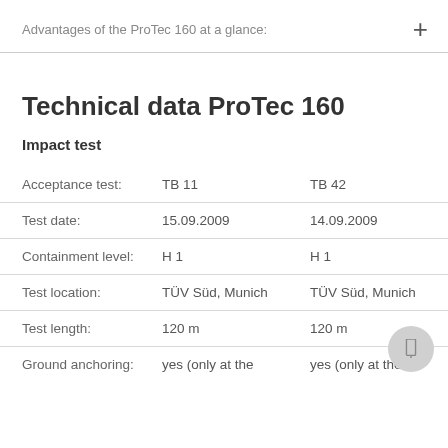Advantages of the ProTec 160 at a glance:
Technical data ProTec 160
Impact test
|  | TB 11 | TB 42 |
| --- | --- | --- |
| Acceptance test: | TB 11 | TB 42 |
| Test date: | 15.09.2009 | 14.09.2009 |
| Containment level: | H 1 | H 1 |
| Test location: | TÜV Süd, Munich | TÜV Süd, Munich |
| Test length: | 120 m | 120 m |
| Ground anchoring: | yes (only at the | yes (only at the |